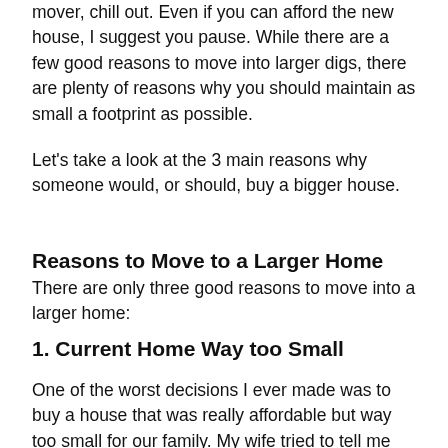mover, chill out. Even if you can afford the new house, I suggest you pause. While there are a few good reasons to move into larger digs, there are plenty of reasons why you should maintain as small a footprint as possible.
Let's take a look at the 3 main reasons why someone would, or should, buy a bigger house.
Reasons to Move to a Larger Home
There are only three good reasons to move into a larger home:
1. Current Home Way too Small
One of the worst decisions I ever made was to buy a house that was really affordable but way too small for our family. My wife tried to tell me this before we